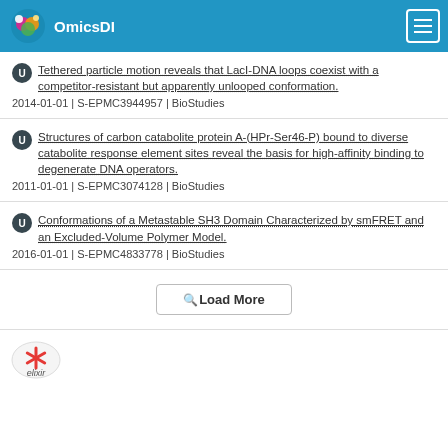OmicsDI
Tethered particle motion reveals that LacI-DNA loops coexist with a competitor-resistant but apparently unlooped conformation. 2014-01-01 | S-EPMC3944957 | BioStudies
Structures of carbon catabolite protein A-(HPr-Ser46-P) bound to diverse catabolite response element sites reveal the basis for high-affinity binding to degenerate DNA operators. 2011-01-01 | S-EPMC3074128 | BioStudies
Conformations of a Metastable SH3 Domain Characterized by smFRET and an Excluded-Volume Polymer Model. 2016-01-01 | S-EPMC4833778 | BioStudies
Load More
[Figure (logo): Elixir logo at bottom left]